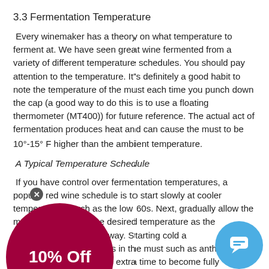3.3 Fermentation Temperature
Every winemaker has a theory on what temperature to ferment at. We have seen great wine fermented from a variety of different temperature schedules. You should pay attention to the temperature. It's definitely a good habit to note the temperature of the must each time you punch down the cap (a good way to do this is to use a floating thermometer (MT400)) for future reference. The actual act of fermentation produces heat and can cause the must to be 10°-15° F higher than the ambient temperature.
A Typical Temperature Schedule
If you have control over fermentation temperatures, a popular red wine schedule is to start slowly at cooler temperatures, such as the low 60s. Next, gradually allow the must to warm up to the desired temperature as the fermentation gets underway. Starting cold allows soluble compounds in the must such as anthocyanins and disagreeable tannins extra time to become fully extracted in the final wine.
During fermentation the temperature is allowed to rise, often